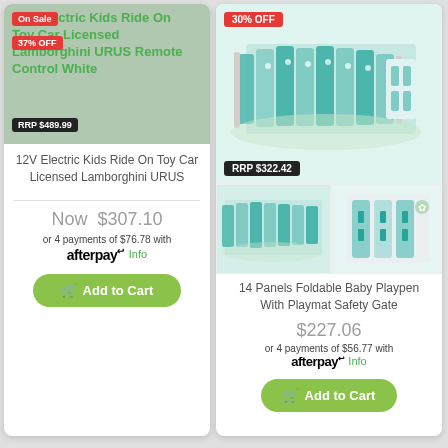[Figure (photo): Product listing card for 12V Electric Kids Ride On Toy Car Licensed Lamborghini URUS Remote Control White, showing On Sale badge, 37% OFF badge, RRP $489.99 badge overlaid on green product image background]
12V Electric Kids Ride On Toy Car Licensed Lamborghini URUS
Now $307.10
or 4 payments of $76.78 with afterpay Info
Add to Cart
[Figure (photo): Product listing card for 14 Panels Foldable Baby Playpen With Playmat Safety Gate, showing 30% OFF badge, RRP $322.42 badge overlaid on teal/white playpen product images (main image and two thumbnail images)]
14 Panels Foldable Baby Playpen With Playmat Safety Gate
$227.06
or 4 payments of $56.77 with afterpay Info
Add to Cart